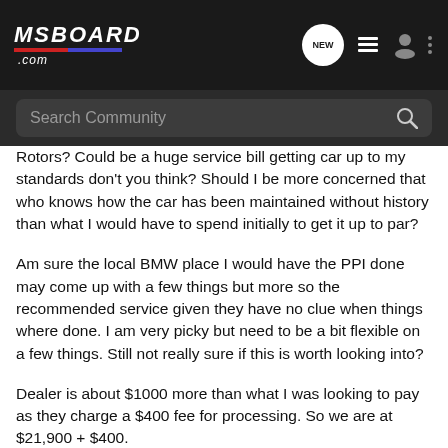MSBOARD.COM — navigation bar with logo, NEW button, list icon, user icon, dots menu
Search Community
Rotors? Could be a huge service bill getting car up to my standards don't you think? Should I be more concerned that who knows how the car has been maintained without history than what I would have to spend initially to get it up to par?
Am sure the local BMW place I would have the PPI done may come up with a few things but more so the recommended service given they have no clue when things where done. I am very picky but need to be a bit flexible on a few things. Still not really sure if this is worth looking into?
Dealer is about $1000 more than what I was looking to pay as they charge a $400 fee for processing. So we are at $21,900 + $400.
[Figure (photo): Blue background advertisement image with a cylindrical canister/spray can product, partially visible at bottom of page]